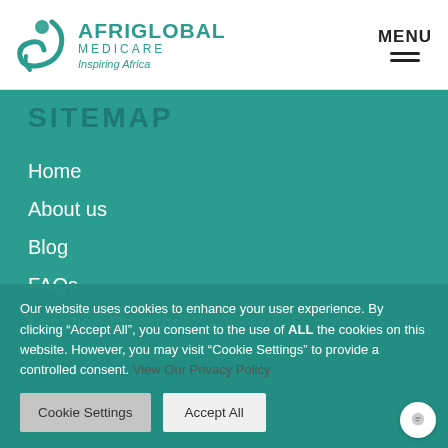[Figure (logo): Afriglobal Medicare logo with teal swirl icon and text 'AFRIGLOBAL MEDICARE Inspiring Africa']
MENU
SITEMAP
Home
About us
Blog
FAQs
Location Directory
OUR SERVICES
Our website uses cookies to enhance your user experience. By clicking “Accept All”, you consent to the use of ALL the cookies on this website. However, you may visit "Cookie Settings" to provide a controlled consent. View Our Privacy Policy
Cookie Settings
Accept All